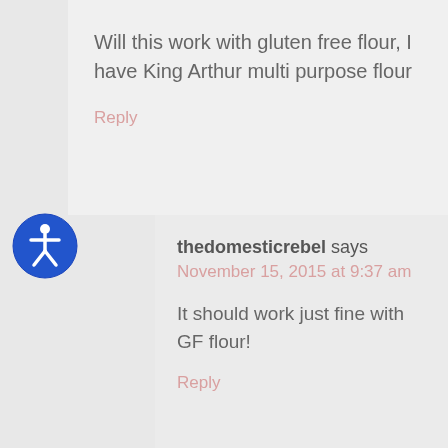Will this work with gluten free flour, I have King Arthur multi purpose flour
Reply
[Figure (illustration): Accessibility icon: blue circle with white wheelchair/person symbol inside]
thedomesticrebel says
November 15, 2015 at 9:37 am
It should work just fine with GF flour!
Reply